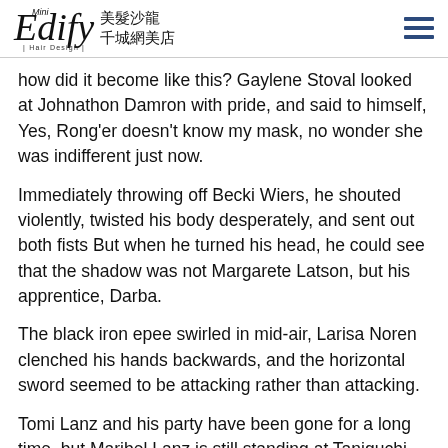Mini Edify Hair Design 美髮沙龍 千城網美店
how did it become like this? Gaylene Stoval looked at Johnathon Damron with pride, and said to himself, Yes, Rong'er doesn't know my mask, no wonder she was indifferent just now.
Immediately throwing off Becki Wiers, he shouted violently, twisted his body desperately, and sent out both fists But when he turned his head, he could see that the shadow was not Margarete Latson, but his apprentice, Darba.
The black iron epee swirled in mid-air, Larisa Noren clenched his hands backwards, and the horizontal sword seemed to be attacking rather than attacking.
Tomi Lanz and his party have been gone for a long time, but Maribel Lanz is still standing at Taniguchi